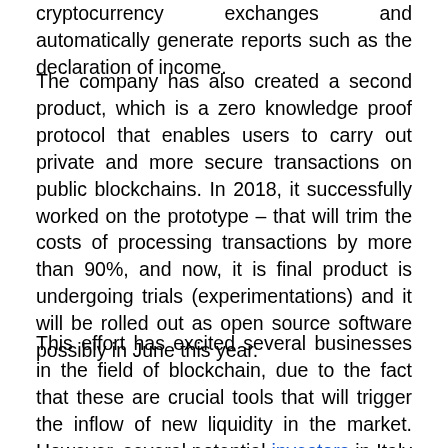cryptocurrency exchanges and automatically generate reports such as the declaration of income.
The company has also created a second product, which is a zero knowledge proof protocol that enables users to carry out private and more secure transactions on public blockchains. In 2018, it successfully worked on the prototype – that will trim the costs of processing transactions by more than 90%, and now, it is final product is undergoing trials (experimentations) and it will be rolled out as open source software possibly in June this year.
This effort has excited several businesses in the field of blockchain, due to the fact that these are crucial tools that will trigger the inflow of new liquidity in the market. However, several potential investors in Italy & across Europe, are afraid of making big investments in cryptoassets because they think that the processes